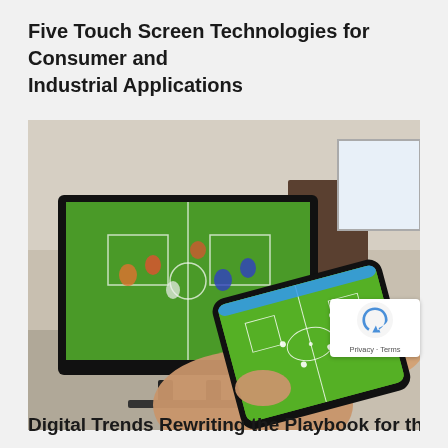Five Touch Screen Technologies for Consumer and Industrial Applications
[Figure (photo): Person holding a smartphone displaying a football/soccer game app with a green pitch visible on screen, in front of a large TV also showing a live football match in a living room setting.]
Digital Trends Rewriting the Playbook for the Sports